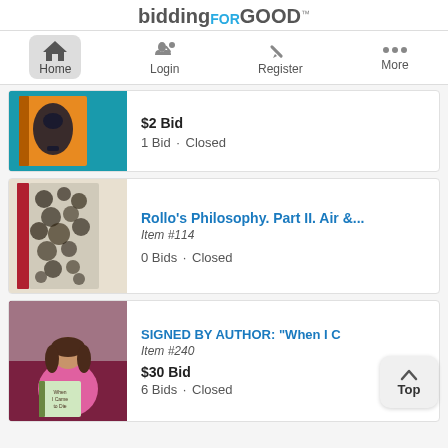biddingFORGOOD
[Figure (screenshot): Navigation bar with Home, Login, Register, More icons]
[Figure (photo): Book with orange cover featuring black silhouette]
$2 Bid
1 Bid · Closed
[Figure (photo): Old book with mottled black and white cover and red spine - Rollo's Philosophy]
Rollo's Philosophy. Part II. Air &...
Item #114
0 Bids · Closed
[Figure (photo): Woman in pink jacket holding book titled 'When I Came to Die']
SIGNED BY AUTHOR: "When I C
Item #240
$30 Bid
6 Bids · Closed